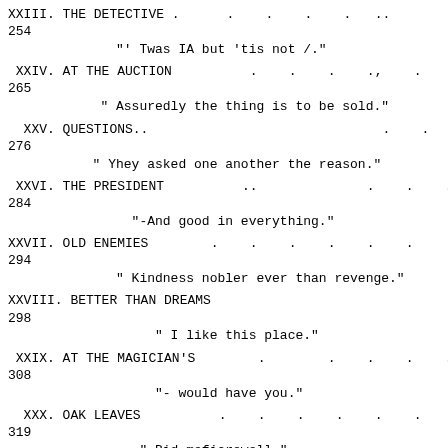XXIII. THE DETECTIVE . . . . .. 254 "' Twas IA but 'tis not /."
XXIV. AT THE AUCTION . . . ., . 265 " Assuredly the thing is to be sold."
XXV. QUESTIONS.. . . 276 " Yhey asked one another the reason."
XXVI. THE PRESIDENT .. . . . 284 "-And good in everything."
XXVII. OLD ENEMIES . . . . . . 294 " Kindness nobler ever than revenge."
XXVIII. BETTER THAN DREAMS 298 " I like this place."
XXIX. AT THE MAGICIAN'S . . . . . 308 "- would have you."
XXX. OAK LEAVES . . . . . . . 319 " Bid mefiarewell."